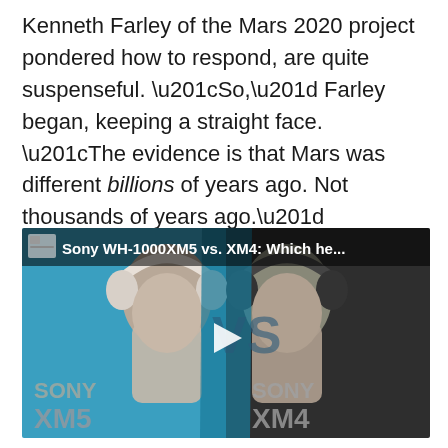Kenneth Farley of the Mars 2020 project pondered how to respond, are quite suspenseful. “So,” Farley began, keeping a straight face. “The evidence is that Mars was different billions of years ago. Not thousands of years ago.”
[Figure (screenshot): Video thumbnail showing two men facing each other, one wearing Sony WH-1000XM5 white headphones on the left against a blue background, and one wearing Sony XM4 black headphones on the right against a dark background. A white play button triangle is in the center. Text overlay reads 'Sony WH-1000XM5 vs. XM4: Which he...' at the top and 'SONY XM5' on the left and 'SONY XM4' on the right in large grey letters.]